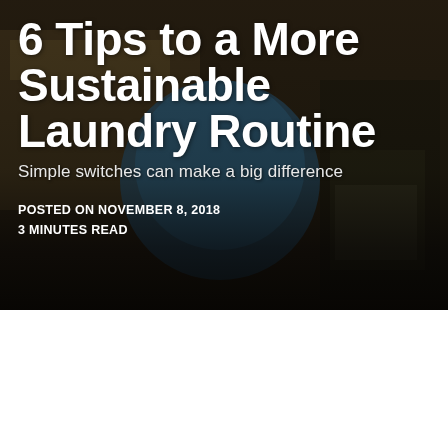[Figure (photo): Background photo showing laundry-related products: a blue wool dryer ball, a SheaMoisture Tea Tree essential oil bottle, and a natural sunscreen/laundry product box with rosemary-mint label, arranged on a dark surface]
6 Tips to a More Sustainable Laundry Routine
Simple switches can make a big difference
POSTED ON NOVEMBER 8, 2018
3 MINUTES READ